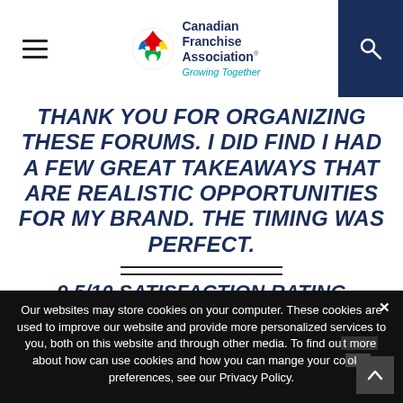Canadian Franchise Association — Growing Together
THANK YOU FOR ORGANIZING THESE FORUMS. I DID FIND I HAD A FEW GREAT TAKEAWAYS THAT ARE REALISTIC OPPORTUNITIES FOR MY BRAND. THE TIMING WAS PERFECT.
9.5/10 SATISFACTION RATING
Our websites may store cookies on your computer. These cookies are used to improve our website and provide more personalized services to you, both on this website and through other media. To find out more about how can use cookies and how you can mange your cookie preferences, see our Privacy Policy.